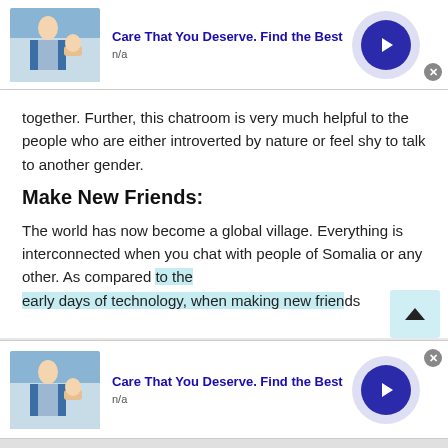[Figure (infographic): Ad banner: doctor/healthcare image on left, 'Care That You Deserve. Find the Best' title in blue, 'n/a' subtitle, circular arrow button on right, close X button]
together. Further, this chatroom is very much helpful to the people who are either introverted by nature or feel shy to talk to another gender.
Make New Friends:
The world has now become a global village. Everything is interconnected when you chat with people of Somalia or any other. As compared to the early days of technology, when making new friends
[Figure (infographic): Second ad banner at bottom: same healthcare image, 'Care That You Deserve. Find the Best' in blue, 'n/a' subtitle, circular arrow button, close X button]